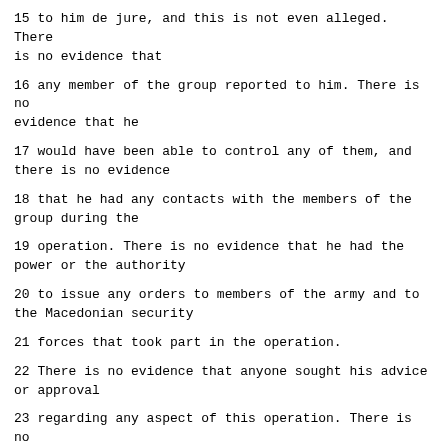15 to him de jure, and this is not even alleged. There is no evidence that
16 any member of the group reported to him. There is no evidence that he
17 would have been able to control any of them, and there is no evidence
18 that he had any contacts with the members of the group during the
19 operation. There is no evidence that he had the power or the authority
20 to issue any orders to members of the army and to the Macedonian security
21 forces that took part in the operation.
22 There is no evidence that anyone sought his advice or approval
23 regarding any aspect of this operation. There is no evidence that
24 Mr. Tarculovski controlled any of the alleged unidentified perpetrators
25 at the time of the alleged crimes.